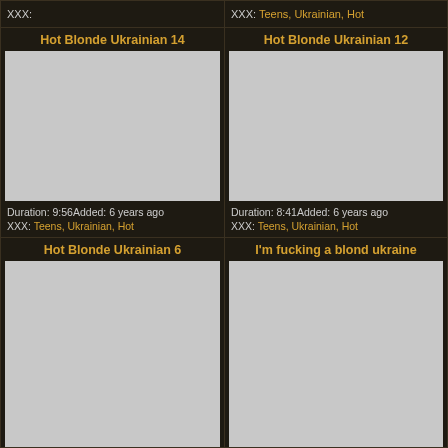XXX:
XXX: Teens, Ukrainian, Hot
Hot Blonde Ukrainian 14
[Figure (photo): Gray placeholder thumbnail for Hot Blonde Ukrainian 14]
Duration: 9:56Added: 6 years ago
XXX: Teens, Ukrainian, Hot
Hot Blonde Ukrainian 12
[Figure (photo): Gray placeholder thumbnail for Hot Blonde Ukrainian 12]
Duration: 8:41Added: 6 years ago
XXX: Teens, Ukrainian, Hot
Hot Blonde Ukrainian 6
[Figure (photo): Gray placeholder thumbnail for Hot Blonde Ukrainian 6]
I'm fucking a blond ukraine
[Figure (photo): Gray placeholder thumbnail for I'm fucking a blond ukraine]